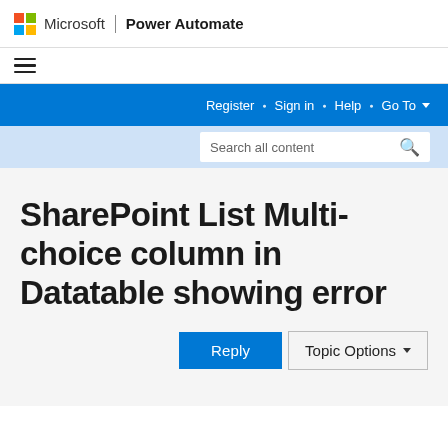Microsoft | Power Automate
[Figure (logo): Microsoft colorful logo and Power Automate product name]
SharePoint List Multi-choice column in Datatable showing error
Reply  Topic Options